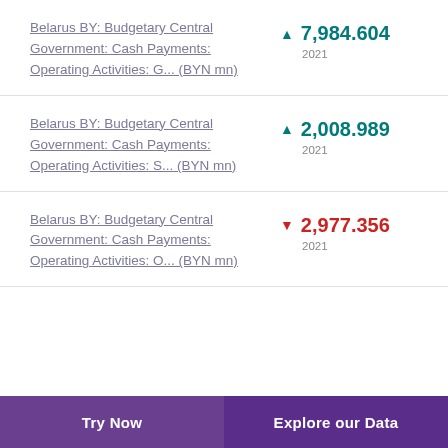Belarus BY: Budgetary Central Government: Cash Payments: Operating Activities: G... (BYN mn)
Belarus BY: Budgetary Central Government: Cash Payments: Operating Activities: S... (BYN mn)
Belarus BY: Budgetary Central Government: Cash Payments: Operating Activities: O... (BYN mn)
Try Now | Explore our Data